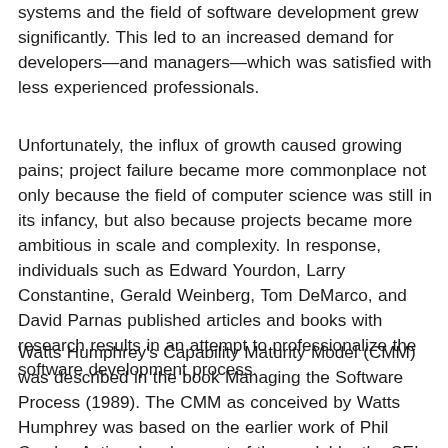systems and the field of software development grew significantly. This led to an increased demand for developers—and managers—which was satisfied with less experienced professionals.
Unfortunately, the influx of growth caused growing pains; project failure became more commonplace not only because the field of computer science was still in its infancy, but also because projects became more ambitious in scale and complexity. In response, individuals such as Edward Yourdon, Larry Constantine, Gerald Weinberg, Tom DeMarco, and David Parnas published articles and books with research results in an attempt to professionalize the software development process.
Watts Humphrey's Capability Maturity Model (CMM) was described in the book Managing the Software Process (1989). The CMM as conceived by Watts Humphrey was based on the earlier work of Phil Crosby. Active development of the model by the SEI began in 1986.